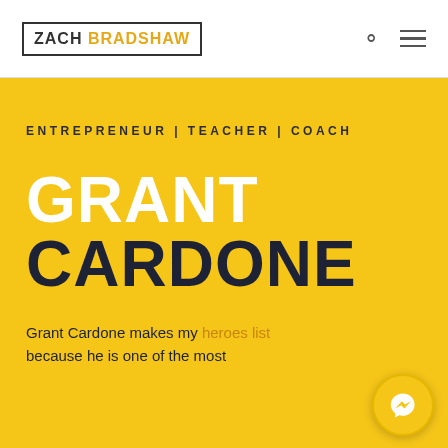ZACH BRADSHAW
ENTREPRENEUR | TEACHER | COACH
GRANT CARDONE
Grant Cardone makes my heroes list because he is one of the most